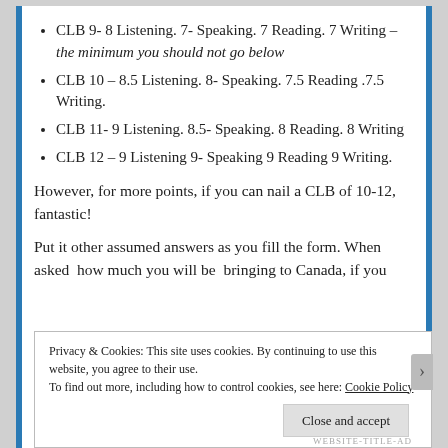CLB 9- 8 Listening. 7- Speaking. 7 Reading. 7 Writing – the minimum you should not go below
CLB 10 – 8.5 Listening. 8- Speaking. 7.5 Reading .7.5 Writing.
CLB 11- 9 Listening. 8.5- Speaking. 8 Reading. 8 Writing
CLB 12 – 9 Listening 9- Speaking 9 Reading 9 Writing.
However, for more points, if you can nail a CLB of 10-12, fantastic!
Put it other assumed answers as you fill the form. When asked  how much you will be  bringing to Canada, if you
Privacy & Cookies: This site uses cookies. By continuing to use this website, you agree to their use.
To find out more, including how to control cookies, see here: Cookie Policy